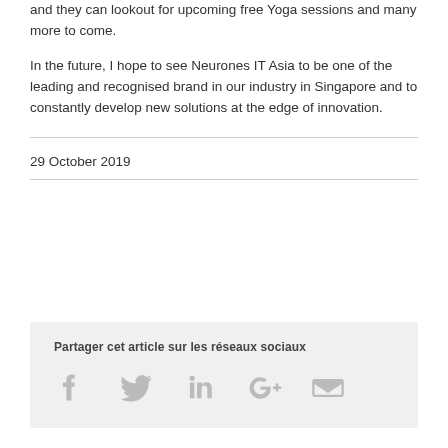and they can lookout for upcoming free Yoga sessions and many more to come.
In the future, I hope to see Neurones IT Asia to be one of the leading and recognised brand in our industry in Singapore and to constantly develop new solutions at the edge of innovation.
29 October 2019
Partager cet article sur les réseaux sociaux
[Figure (infographic): Social media sharing icons: Facebook, Twitter, LinkedIn, Google+, Email]